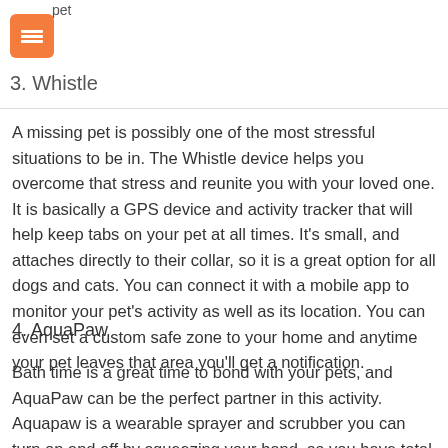pet
3. Whistle
A missing pet is possibly one of the most stressful situations to be in. The Whistle device helps you overcome that stress and reunite you with your loved one. It is basically a GPS device and activity tracker that will help keep tabs on your pet at all times. It's small, and attaches directly to their collar, so it is a great option for all dogs and cats. You can connect it with a mobile app to monitor your pet's activity as well as its location. You can even set a custom safe zone to your home and anytime your pet leaves that area you'll get a notification.
4. AquaPaw
Bath time is a great time to bond with your pets, and AquaPaw can be the perfect partner in this activity. Aquapaw is a wearable sprayer and scrubber you can turn on and off by squeezing your hand, so you have total control of the water flow. It can be used inside by attaching